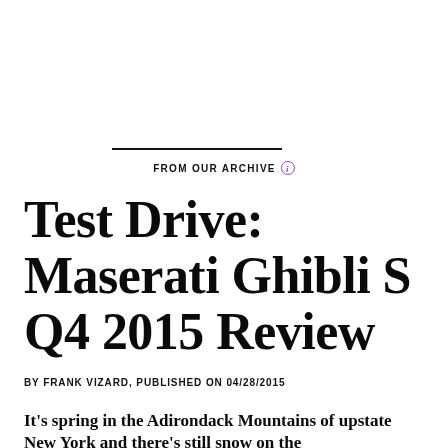FROM OUR ARCHIVE
Test Drive: Maserati Ghibli S Q4 2015 Review
BY FRANK VIZARD, PUBLISHED ON 04/28/2015
It's spring in the Adirondack Mountains of upstate New York and there's still snow on the